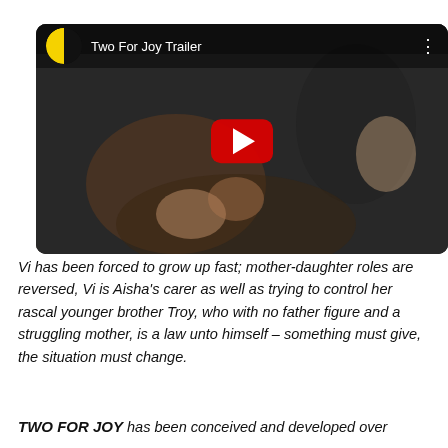[Figure (screenshot): YouTube video thumbnail/player for 'Two For Joy Trailer' showing a scene with a woman with blonde hair, YouTube play button overlay, channel icon (black circle with yellow half), and three-dot menu.]
Vi has been forced to grow up fast; mother-daughter roles are reversed, Vi is Aisha's carer as well as trying to control her rascal younger brother Troy, who with no father figure and a struggling mother, is a law unto himself – something must give, the situation must change.
TWO FOR JOY has been conceived and developed over